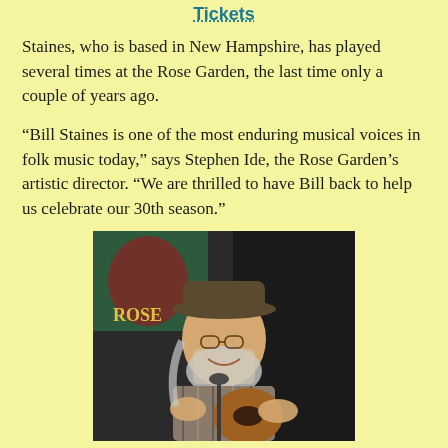Tickets
Staines, who is based in New Hampshire, has played several times at the Rose Garden, the last time only a couple of years ago.
“Bill Staines is one of the most enduring musical voices in folk music today,” says Stephen Ide, the Rose Garden’s artistic director. “We are thrilled to have Bill back to help us celebrate our 30th season.”
[Figure (photo): An older man with a wide-brimmed hat, long grey hair, glasses, and a beard, smiling while playing an acoustic guitar. A colorful banner is visible in the background on the left.]